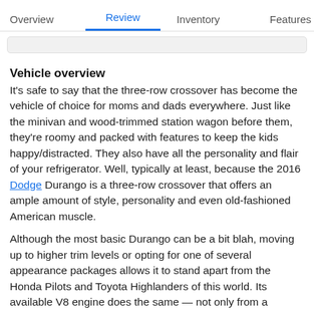Overview  Review  Inventory  Features
Vehicle overview
It's safe to say that the three-row crossover has become the vehicle of choice for moms and dads everywhere. Just like the minivan and wood-trimmed station wagon before them, they're roomy and packed with features to keep the kids happy/distracted. They also have all the personality and flair of your refrigerator. Well, typically at least, because the 2016 Dodge Durango is a three-row crossover that offers an ample amount of style, personality and even old-fashioned American muscle.
Although the most basic Durango can be a bit blah, moving up to higher trim levels or opting for one of several appearance packages allows it to stand apart from the Honda Pilots and Toyota Highlanders of this world. Its available V8 engine does the same — not only from a